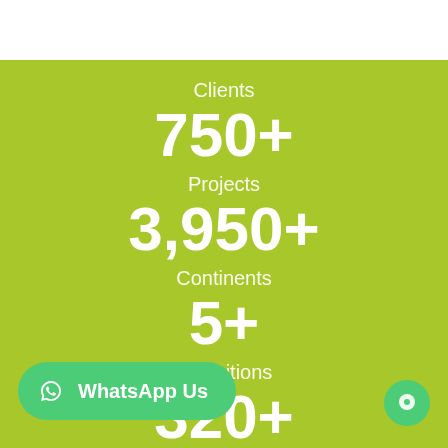Clients
750+
Projects
3,950+
Continents
5+
Exhibitions
320+
WhatsApp Us